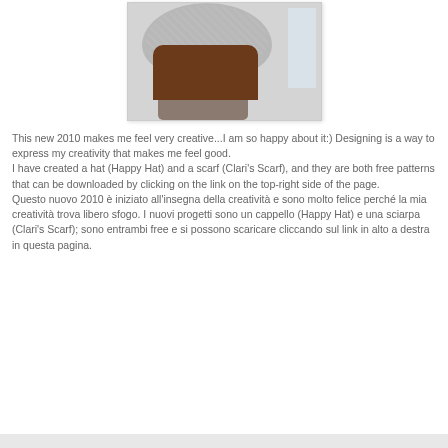[Figure (photo): A person seen from behind wearing a chunky knit grey/light-coloured hat (Happy Hat), with dark brown hair visible below the hat, photo has a light border and slight shadow.]
This new 2010 makes me feel very creative...I am so happy about it:) Designing is a way to express my creativity that makes me feel good.
I have created a hat (Happy Hat) and a scarf (Clari's Scarf), and they are both free patterns that can be downloaded by clicking on the link on the top-right side of the page.
Questo nuovo 2010 è iniziato all'insegna della creatività e sono molto felice perché la mia creatività trova libero sfogo. I nuovi progetti sono un cappello (Happy Hat) e una sciarpa (Clari's Scarf); sono entrambi free e si possono scaricare cliccando sul link in alto a destra in questa pagina.